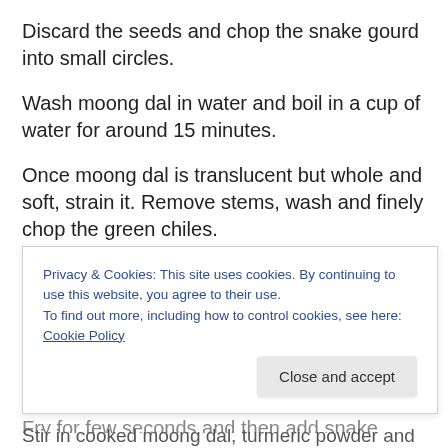Discard the seeds and chop the snake gourd into small circles.
Wash moong dal in water and boil in a cup of water for around 15 minutes.
Once moong dal is translucent but whole and soft, strain it. Remove stems, wash and finely chop the green chiles.
Heat oil in a pan, add all talimpu ingredients in order. When mustard seeds start spluttering, add green chiles and ginger.
Fry for few seconds and then add snake gourd and stir for f...
Privacy & Cookies: This site uses cookies. By continuing to use this website, you agree to their use.
To find out more, including how to control cookies, see here: Cookie Policy
Close and accept
Stir in cooked moong dal, turmeric powder and salt.